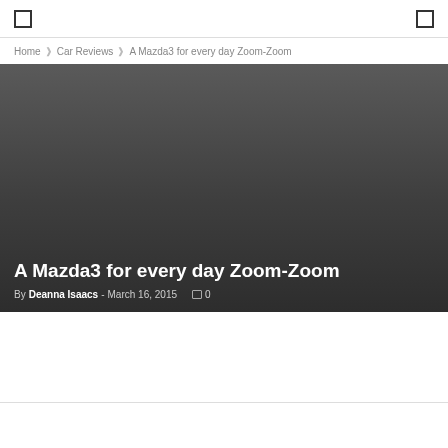[ ] ... [ ]
Home · Car Reviews · A Mazda3 for every day Zoom-Zoom
[Figure (photo): Dark gradient hero image background with article title overlay]
A Mazda3 for every day Zoom-Zoom
By Deanna Isaacs - March 16, 2015  0